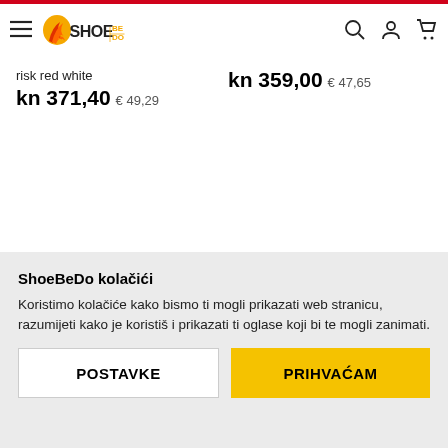ShoeBeDo header with logo, hamburger menu, search, account and cart icons
risk red white
kn 371,40 € 49,29
kn 359,00 € 47,65
ShoeBeDo kolačići
Koristimo kolačiće kako bismo ti mogli prikazati web stranicu, razumijeti kako je koristiš i prikazati ti oglase koji bi te mogli zanimati.
POSTAVKE
PRIHVAĆAM